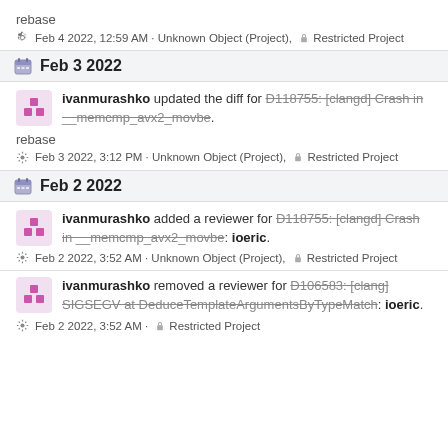rebase
Feb 4 2022, 12:59 AM · Unknown Object (Project), Restricted Project
Feb 3 2022
ivanmurashko updated the diff for D118755: [clangd] Crash in __memcmp_avx2_movbe.
rebase
Feb 3 2022, 3:12 PM · Unknown Object (Project), Restricted Project
Feb 2 2022
ivanmurashko added a reviewer for D118755: [clangd] Crash in __memcmp_avx2_movbe: ioeric.
Feb 2 2022, 3:52 AM · Unknown Object (Project), Restricted Project
ivanmurashko removed a reviewer for D106583: [clang] SIGSEGV at DeduceTemplateArgumentsByTypeMatch: ioeric.
Feb 2 2022, 3:52 AM · Restricted Project